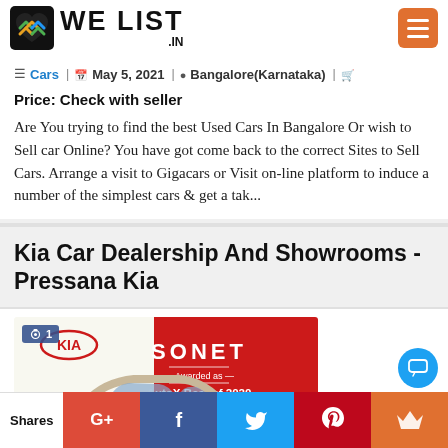WE LIST .IN
Cars | May 5, 2021 | Bangalore(Karnataka) | Price: Check with seller
Are You trying to find the best Used Cars In Bangalore Or wish to Sell car Online? You have got come back to the correct Sites to Sell Cars. Arrange a visit to Gigacars or Visit on-line platform to induce a number of the simplest cars & get a tak...
Kia Car Dealership And Showrooms - Pressana Kia
[Figure (photo): Kia Sonet car advertisement showing 'SONET Awarded as AutoX Best of 2020' with a Kia Sonet SUV displayed on a red background]
Shares | G+ | f | Twitter | Pinterest | Crown